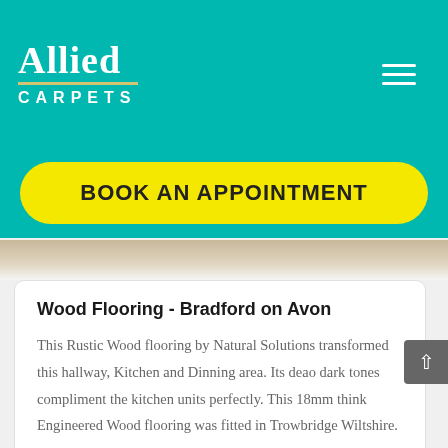Allied Carpets
BOOK AN APPOINTMENT
[Figure (photo): A close-up of wood flooring planks in a warm tan/brown color]
Wood Flooring - Bradford on Avon
This Rustic Wood flooring by Natural Solutions transformed this hallway, Kitchen and Dinning area. Its deao dark tones compliment the kitchen units perfectly. This 18mm think Engineered Wood flooring was fitted in Trowbridge Wiltshire.